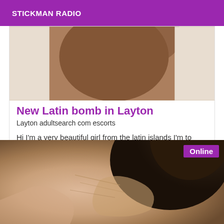STICKMAN RADIO
[Figure (photo): Cropped photo of a dark-skinned person, partial upper body view against light background]
New Latin bomb in Layton
Layton adultsearch com escorts
Hi I'm a very beautiful girl from the latin islands I'm to discover so don't think much to come and meet me kisses
[Figure (photo): Close-up photo of a light-skinned person's neck/shoulder area with dark hair, with an 'Online' badge overlay]